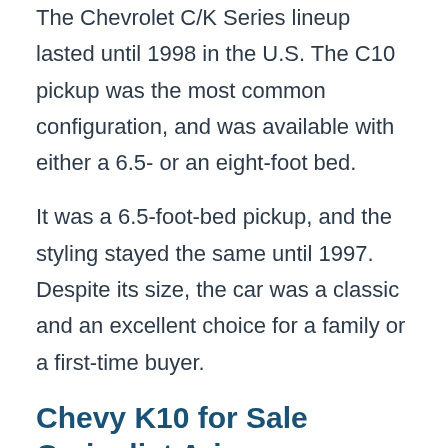The Chevrolet C/K Series lineup lasted until 1998 in the U.S. The C10 pickup was the most common configuration, and was available with either a 6.5- or an eight-foot bed.
It was a 6.5-foot-bed pickup, and the styling stayed the same until 1997. Despite its size, the car was a classic and an excellent choice for a family or a first-time buyer.
Chevy K10 for Sale Craigslist Arizona